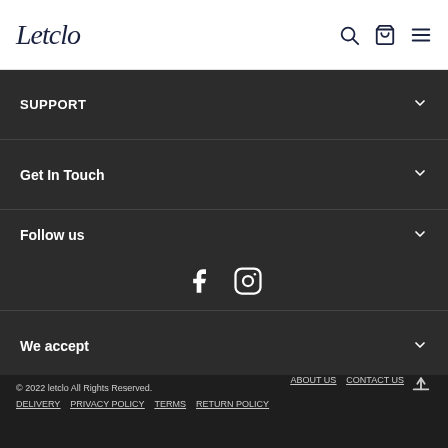Letclo logo with search, bag, and menu icons
SUPPORT
Get In Touch
Follow us
[Figure (illustration): Facebook and Instagram social media icons in white on dark background]
We accept
© 2022 letclo All Rights Reserved. ABOUT US CONTACT US DELIVERY PRIVACY POLICY TERMS RETURN POLICY